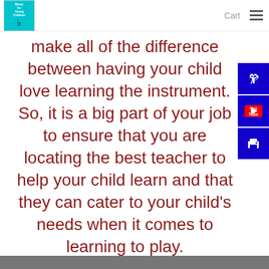Cart
make all of the difference between having your child love learning the instrument. So, it is a big part of your job to ensure that you are locating the best teacher to help your child learn and that they can cater to your child's needs when it comes to learning to play.
[Figure (screenshot): Bottom image strip, partially visible]
[Figure (logo): Music for Young Children logo with violin icon on teal background]